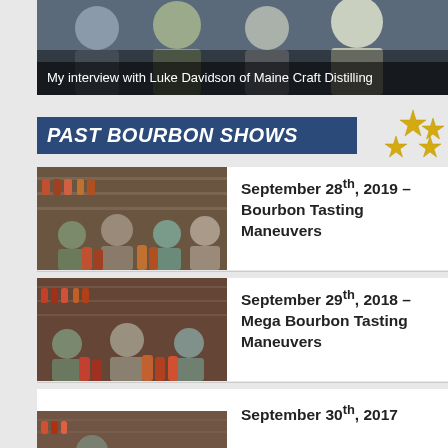[Figure (photo): Group photo of people at a bar or distillery, dark background]
My interview with Luke Davidson of Maine Craft Distilling
PAST BOURBON SHOWS
[Figure (illustration): Gold stars decoration]
September 28th, 2019 – Bourbon Tasting Maneuvers
September 29th, 2018 – Mega Bourbon Tasting Maneuvers
September 30th, 2017